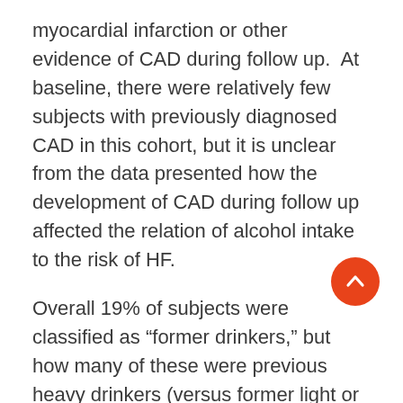myocardial infarction or other evidence of CAD during follow up.  At baseline, there were relatively few subjects with previously diagnosed CAD in this cohort, but it is unclear from the data presented how the development of CAD during follow up affected the relation of alcohol intake to the risk of HF.
Overall 19% of subjects were classified as “former drinkers,” but how many of these were previous heavy drinkers (versus former light or occasional drinkers) is not presented.  Baseline values of characteristics such as smoking and HDL-cholesterol for subjects in the former drinking category were more similar to those of abstainers than to those of heavy drinkers; further, adjusted hazard ratios for developing heart failure based on
[Figure (other): Orange circular scroll-to-top button with upward arrow icon, positioned in the lower right area of the page.]